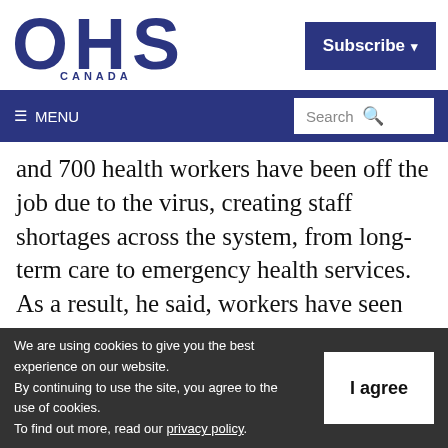[Figure (logo): OHS Canada logo in dark navy blue with large OHS letters and CANADA text below]
Subscribe ▾
☰ MENU   Search 🔍
and 700 health workers have been off the job due to the virus, creating staff shortages across the system, from long-term care to emergency health services. As a result, he said, workers have seen their teams reduced or have been redeployed to other areas in
We are using cookies to give you the best experience on our website.
By continuing to use the site, you agree to the use of cookies.
To find out more, read our privacy policy.
I agree